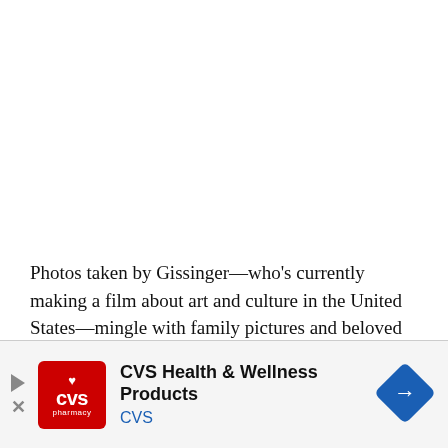Photos taken by Gissinger—who's currently making a film about art and culture in the United States—mingle with family pictures and beloved artworks in the first-floor parlor.
[Figure (other): CVS Health & Wellness Products advertisement banner with CVS pharmacy logo, navigation arrows, and a blue diamond-shaped arrow icon]